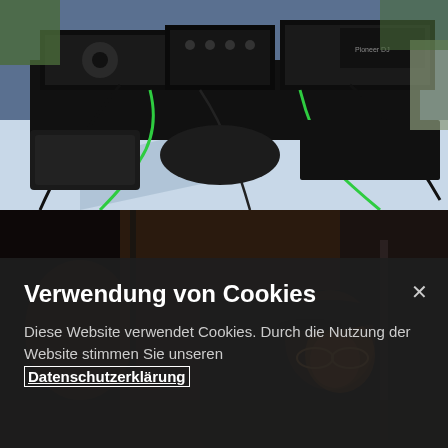[Figure (photo): DJ equipment setup on a table outdoors — turntables, mixer, cables (green and black), bags and cases visible on a blue/white tablecloth in daylight]
[Figure (photo): Dark indoor scene showing a person wearing a cap and glasses, partially illuminated by warm orange light, in a studio or performance setting]
Verwendung von Cookies
Diese Website verwendet Cookies. Durch die Nutzung der Website stimmen Sie unseren Datenschutzerklärung